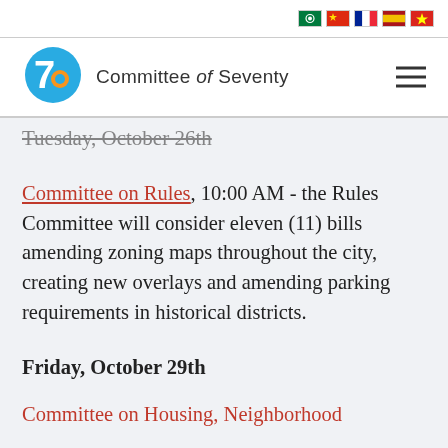[Flag icons: Arabic, Chinese, French, Spanish, Vietnamese]
[Figure (logo): Committee of Seventy logo — blue circular '7' with orange accent, beside the text 'Committee of Seventy']
Tuesday, October 26th
Committee on Rules, 10:00 AM - the Rules Committee will consider eleven (11) bills amending zoning maps throughout the city, creating new overlays and amending parking requirements in historical districts.
Friday, October 29th
Committee on Housing, Neighborhood